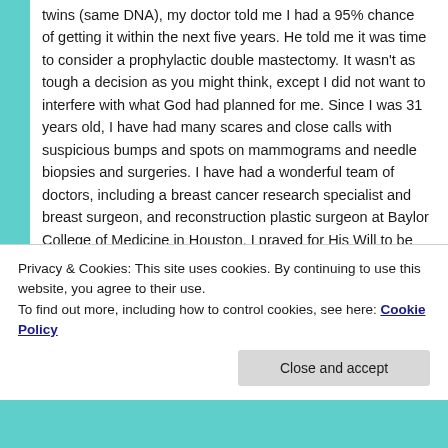twins (same DNA), my doctor told me I had a 95% chance of getting it within the next five years. He told me it was time to consider a prophylactic double mastectomy. It wasn't as tough a decision as you might think, except I did not want to interfere with what God had planned for me. Since I was 31 years old, I have had many scares and close calls with suspicious bumps and spots on mammograms and needle biopsies and surgeries. I have had a wonderful team of doctors, including a breast cancer research specialist and breast surgeon, and reconstruction plastic surgeon at Baylor College of Medicine in Houston. I prayed for His Will to be made abundantly clear, and within days, I had my answer. I realized they were doing mastectomies a little bit at a time anyway, and from this point on, they wouldn't let one thing
Privacy & Cookies: This site uses cookies. By continuing to use this website, you agree to their use.
To find out more, including how to control cookies, see here: Cookie Policy